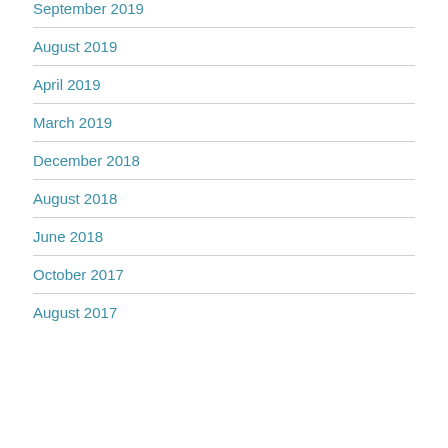September 2019
August 2019
April 2019
March 2019
December 2018
August 2018
June 2018
October 2017
August 2017